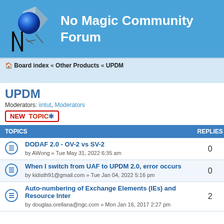No Magic Community Forum
Board index « Other Products « UPDM
UPDM
Moderators: iintut, Moderators
| TOPICS | REPLIES |
| --- | --- |
| DODAF 2.0 - OV-2 vs SV-2 | by AWong » Tue May 31, 2022 6:35 am | 0 |
| When I switch from UAF to UPDM 2.0, error occurs | by kidisth91@gmail.com » Tue Jan 04, 2022 5:16 pm | 0 |
| Auto-numbering of Exchange Elements (IEs) and Resource Inter | by douglas.orellana@ngc.com » Mon Jan 16, 2017 2:27 pm | 2 |